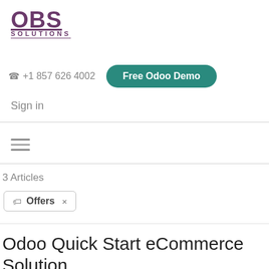[Figure (logo): OBS Solutions logo in purple/mauve color with OBS in large bold text and SOLUTIONS in smaller spaced caps below, both underlined]
☎ +1 857 626 4002
Free Odoo Demo
Sign in
[Figure (other): Hamburger menu icon with three horizontal lines]
3 Articles
🏷 Offers  ×
Odoo Quick Start eCommerce Solution